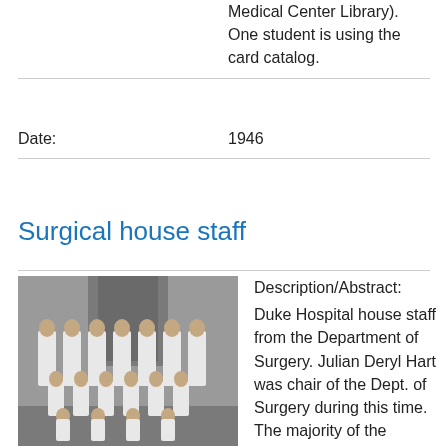Medical Center Library). One student is using the card catalog.
| Field | Value |
| --- | --- |
| Date: | 1946 |
Surgical house staff
[Figure (photo): Black and white group photo of Duke Hospital surgical house staff, multiple men in white medical uniforms posed in rows.]
Description/Abstract: Duke Hospital house staff from the Department of Surgery. Julian Deryl Hart was chair of the Dept. of Surgery during this time. The majority of the